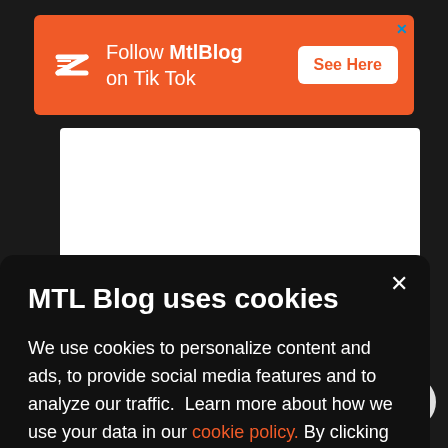[Figure (screenshot): Orange advertisement banner for MtlBlog TikTok with logo, text 'Follow MtlBlog on Tik Tok', and 'See Here' button]
n some
, you'll
MTL Blog uses cookies
We use cookies to personalize content and ads, to provide social media features and to analyze our traffic. Learn more about how we use your data in our cookie policy. By clicking Accept, you allow us to use cookies to give you the best experience on site.
r visit
n
urem...
ment
[Figure (other): Accept button in orange rounded rectangle with white bold text 'Accept']